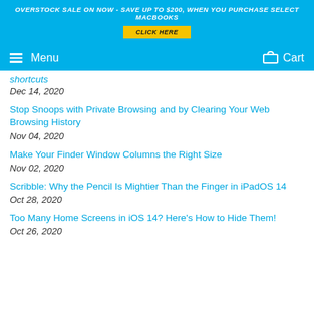OVERSTOCK SALE ON NOW - SAVE UP TO $200, WHEN YOU PURCHASE SELECT MACBOOKS
CLICK HERE
Menu  Cart
shortcuts
Dec 14, 2020
Stop Snoops with Private Browsing and by Clearing Your Web Browsing History
Nov 04, 2020
Make Your Finder Window Columns the Right Size
Nov 02, 2020
Scribble: Why the Pencil Is Mightier Than the Finger in iPadOS 14
Oct 28, 2020
Too Many Home Screens in iOS 14? Here's How to Hide Them!
Oct 26, 2020